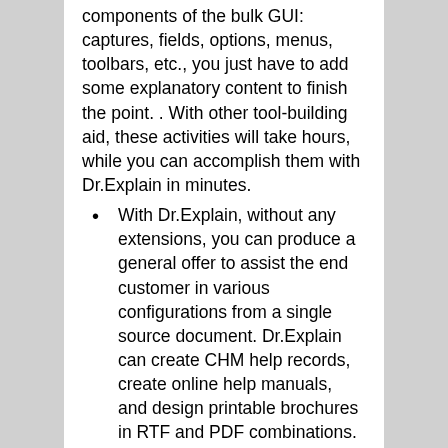components of the bulk GUI: captures, fields, options, menus, toolbars, etc., you just have to add some explanatory content to finish the point. . With other tool-building aid, these activities will take hours, while you can accomplish them with Dr.Explain in minutes.
With Dr.Explain, without any extensions, you can produce a general offer to assist the end customer in various configurations from a single source document. Dr.Explain can create CHM help records, create online help manuals, and design printable brochures in RTF and PDF combinations. Match the help record electronically with the application; Put it on the site of your article; Or transfer it as a printed guide inside the box.